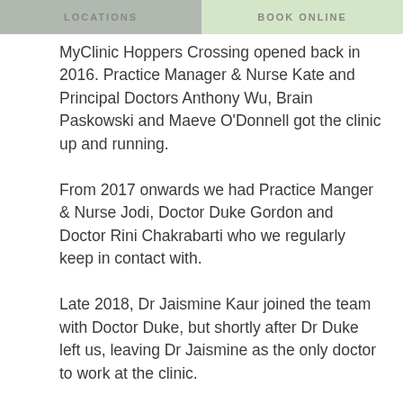LOCATIONS | BOOK ONLINE
MyClinic Hoppers Crossing opened back in 2016. Practice Manager & Nurse Kate and Principal Doctors Anthony Wu, Brain Paskowski and Maeve O'Donnell got the clinic up and running.
From 2017 onwards we had Practice Manger & Nurse Jodi, Doctor Duke Gordon and Doctor Rini Chakrabarti who we regularly keep in contact with.
Late 2018, Dr Jaismine Kaur joined the team with Doctor Duke, but shortly after Dr Duke left us, leaving Dr Jaismine as the only doctor to work at the clinic.
Our current Practice Manager, Sarah, joined the team as receptionist in March of 2018.